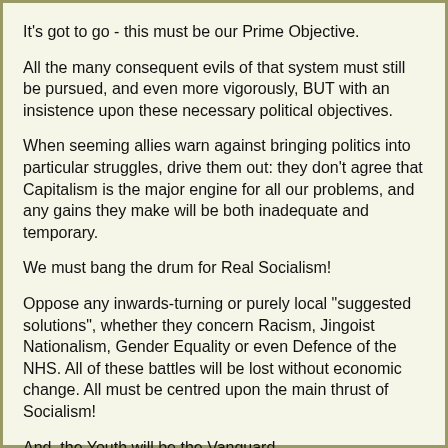It's got to go - this must be our Prime Objective.
All the many consequent evils of that system must still be pursued, and even more vigorously, BUT with an insistence upon these necessary political objectives.
When seeming allies warn against bringing politics into particular struggles, drive them out: they don't agree that Capitalism is the major engine for all our problems, and any gains they make will be both inadequate and temporary.
We must bang the drum for Real Socialism!
Oppose any inwards-turning or purely local "suggested solutions", whether they concern Racism, Jingoist Nationalism, Gender Equality or even Defence of the NHS. All of these battles will be lost without economic change. All must be centred upon the main thrust of Socialism!
And, the Youth will be the Vanguard.